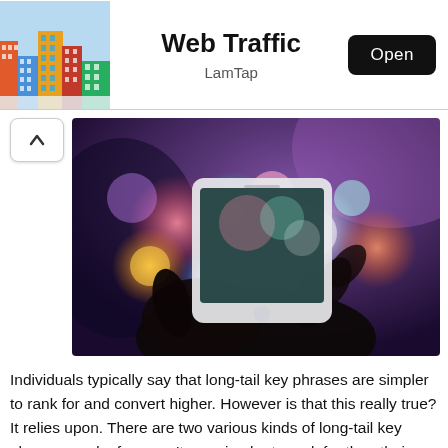Web Traffic — LamTap — Open
[Figure (photo): A hand holding a smartphone with colorful bokeh lights in purple/blue background]
Individuals typically say that long-tail key phrases are simpler to rank for and convert higher. However is that this really true? It relies upon. There are two various kinds of long-tail key phrases, and a few aren't any simpler to rank for than their short-tail counterparts. On this article, you'll be taught the